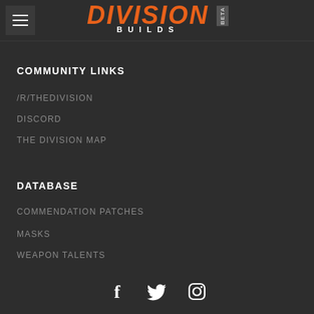DIVISION BUILDS BETA
COMMUNITY LINKS
/R/THEDIVISION
DISCORD
THE DIVISION MAP
DATABASE
COMMENDATION PATCHES
MASKS
WEAPON TALENTS
[Figure (infographic): Social media icons: Facebook, Twitter, Instagram]